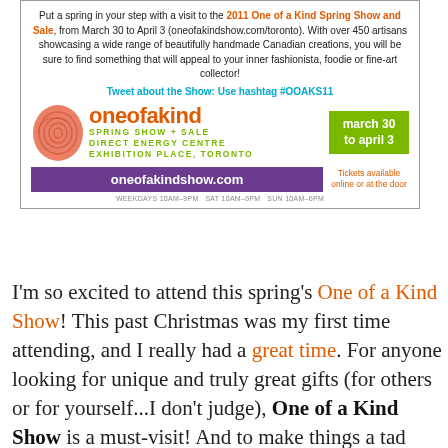[Figure (infographic): One of a Kind Spring Show and Sale advertisement banner with fingerprint logo, orange brand name, green date badge, purple URL pill, and event details text.]
I'm so excited to attend this spring's One of a Kind Show! This past Christmas was my first time attending, and I really had a great time. For anyone looking for unique and truly great gifts (for others or for yourself...I don't judge), One of a Kind Show is a must-visit! And to make things a tad easier for you